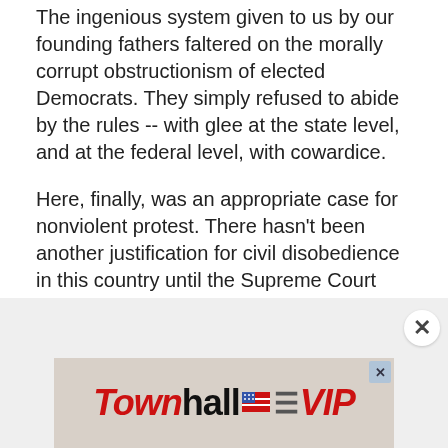The ingenious system given to us by our founding fathers faltered on the morally corrupt obstructionism of elected Democrats. They simply refused to abide by the rules -- with glee at the state level, and at the federal level, with cowardice.
Here, finally, was an appropriate case for nonviolent protest. There hasn't been another justification for civil disobedience in this country until the Supreme Court invented a "right" to abortion in Roe v. Wade -- another act of lawlessness by liberals.
[Figure (other): Townhall VIP advertisement banner with close button and small x dismiss button]